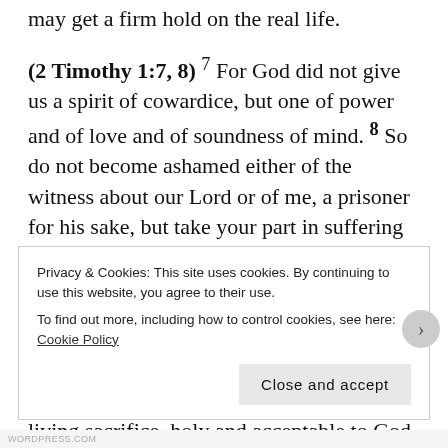may get a firm hold on the real life.
(2 Timothy 1:7, 8) 7 For God did not give us a spirit of cowardice, but one of power and of love and of soundness of mind. 8 So do not become ashamed either of the witness about our Lord or of me, a prisoner for his sake, but take your part in suffering adversity for the good news by relying on the power of God.
(Romans 12:1, 2) 12 Therefore, I appeal to you by the compassions of God, brothers, to present your bodies as a living sacrifice, holy and acceptable to God, a sacred
Privacy & Cookies: This site uses cookies. By continuing to use this website, you agree to their use.
To find out more, including how to control cookies, see here: Cookie Policy
Close and accept